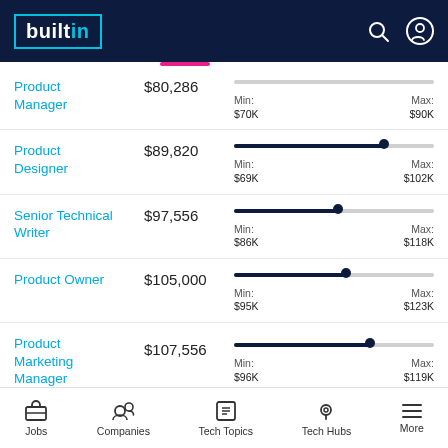builtin
| Job Title | Avg Salary | Min | Max |
| --- | --- | --- | --- |
| Product Manager | $80,286 | $70K | $90K |
| Product Designer | $89,820 | $69K | $102K |
| Senior Technical Writer | $97,556 | $86K | $118K |
| Product Owner | $105,000 | $95K | $123K |
| Product Marketing Manager | $107,556 | $96K | $119K |
| Technical |  |  |  |
Jobs | Companies | Tech Topics | Tech Hubs | More